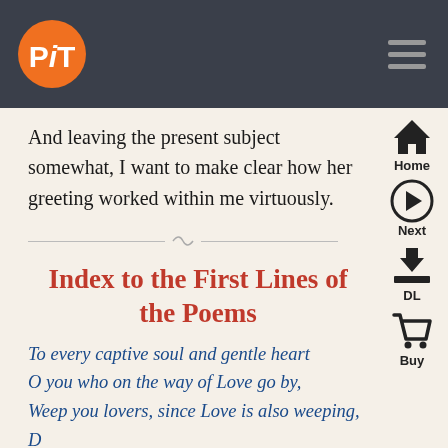PiT logo navigation bar with hamburger menu
And leaving the present subject somewhat, I want to make clear how her greeting worked within me virtuously.
Index to the First Lines of the Poems
To every captive soul and gentle heart
O you who on the way of Love go by,
Weep you lovers, since Love is also weeping,
Death, thou will injure one of ours (cut off)